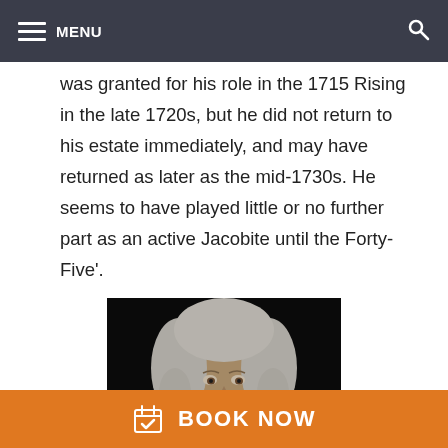MENU
was granted for his role in the 1715 Rising in the late 1720s, but he did not return to his estate immediately, and may have returned as later as the mid-1730s. He seems to have played little or no further part as an active Jacobite until the Forty-Five'.
[Figure (photo): Portrait painting of a man with a white powdered wig, 18th century style, visible from neck up, dark background.]
BOOK NOW